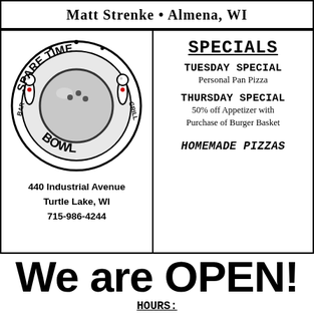Matt Strenke • Almena, WI
[Figure (logo): Spare Time Bar & Grill Bowl bowling alley logo with bowling ball and pins]
440 Industrial Avenue
Turtle Lake, WI
715-986-4244
SPECIALS
TUESDAY SPECIAL
Personal Pan Pizza
THURSDAY SPECIAL
50% off Appetizer with Purchase of Burger Basket
HOMEMADE PIZZAS
We are OPEN!
HOURS:
Monday & Tuesday: 11:00 a.m. - 10:00 p.m.
Wednesday - Saturday: Kitchen Hours 11:00 a.m. -
8:00 p.m. Bar Hours 11:00 a.m. - 12:00 Midnight